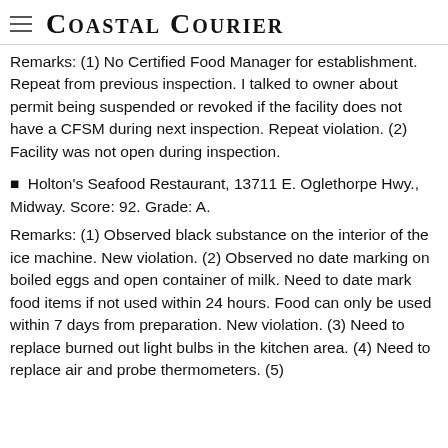Coastal Courier
Remarks: (1) No Certified Food Manager for establishment. Repeat from previous inspection. I talked to owner about permit being suspended or revoked if the facility does not have a CFSM during next inspection. Repeat violation. (2) Facility was not open during inspection.
Holton's Seafood Restaurant, 13711 E. Oglethorpe Hwy., Midway. Score: 92. Grade: A.
Remarks: (1) Observed black substance on the interior of the ice machine. New violation. (2) Observed no date marking on boiled eggs and open container of milk. Need to date mark food items if not used within 24 hours. Food can only be used within 7 days from preparation. New violation. (3) Need to replace burned out light bulbs in the kitchen area. (4) Need to replace air and probe thermometers. (5)